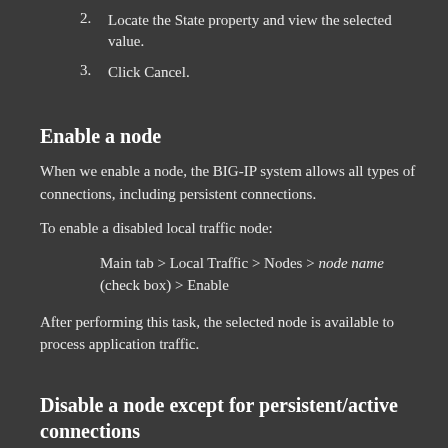2. Locate the State property and view the selected value.
3. Click Cancel.
Enable a node
When we enable a node, the BIG-IP system allows all types of connections, including persistent connections.
To enable a disabled local traffic node:
Main tab > Local Traffic > Nodes > node name (check box) > Enable
After performing this task, the selected node is available to process application traffic.
Disable a node except for persistent/active connections